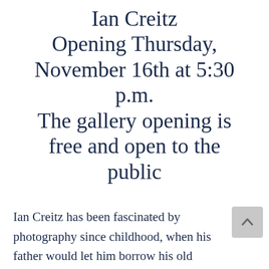Ian Creitz Opening Thursday, November 16th at 5:30 p.m. The gallery opening is free and open to the public
Ian Creitz has been fascinated by photography since childhood, when his father would let him borrow his old Minolta so he could take pictures around their property and in the